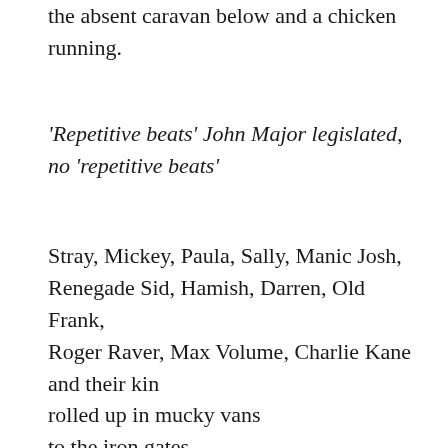suspended in air, the outline of the absent caravan below and a chicken running.
'Repetitive beats' John Major legislated, no 'repetitive beats'
Stray, Mickey, Paula, Sally, Manic Josh, Renegade Sid, Hamish, Darren, Old Frank,
Roger Raver, Max Volume, Charlie Kane and their kin
rolled up in mucky vans
to the iron gates
of the factory.
Mickey's axe broke the chain in one blow.
The Victorian terraces looked quietly on,